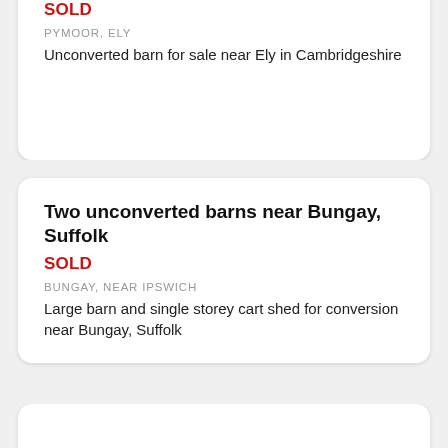SOLD
PYMOOR, ELY
Unconverted barn for sale near Ely in Cambridgeshire
Two unconverted barns near Bungay, Suffolk
SOLD
BUNGAY, NEAR IPSWICH
Large barn and single storey cart shed for conversion near Bungay, Suffolk